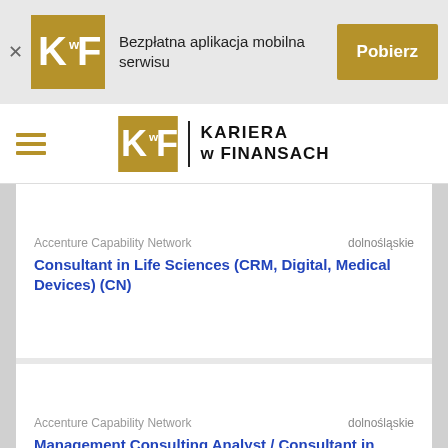[Figure (screenshot): KwF app banner with logo, text 'Bezpłatna aplikacja mobilna serwisu', and 'Pobierz' button]
[Figure (logo): KwF Kariera w Finansach navigation logo with hamburger menu]
Accenture Capability Network	dolnośląskie
Consultant in Life Sciences (CRM, Digital, Medical Devices) (CN)
Accenture Capability Network	dolnośląskie
Management Consulting Analyst / Consultant in Chemicals (CN)